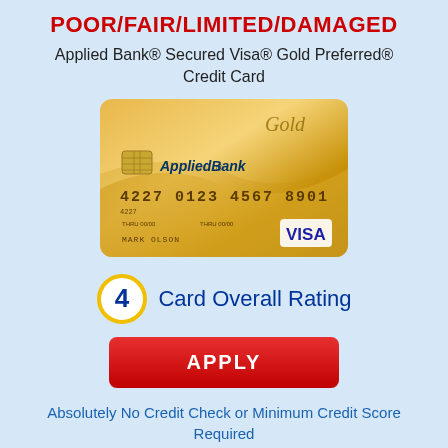POOR/FAIR/LIMITED/DAMAGED
Applied Bank® Secured Visa® Gold Preferred® Credit Card
[Figure (photo): Applied Bank Secured Visa Gold Preferred Credit Card — gold colored credit card with chip, card number 4227 0123 4567 8901, cardholder MARK OLSON, VISA logo]
4  Card Overall Rating
APPLY
Absolutely No Credit Check or Minimum Credit Score Required
SEARCH FOR THE SPECIFIC QUESTION